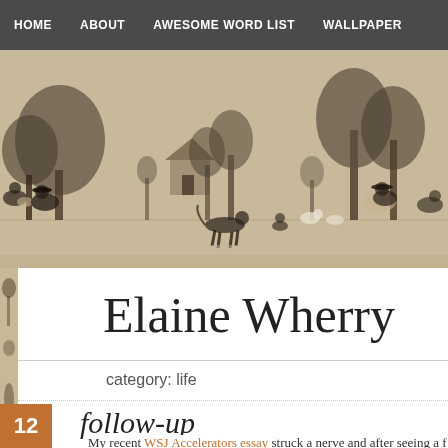HOME  ABOUT  AWESOME WORD LIST  WALLPAPER
[Figure (illustration): Toile-style decorative banner illustration with pastoral scenes: figures sitting under trees, animals (dog/horse), trees, and buildings on a tan/beige background with black ink drawings.]
Elaine Wherry
category: life
follow-up
My recent WSJ Accelerators essay struck a nerve and after seeing a f